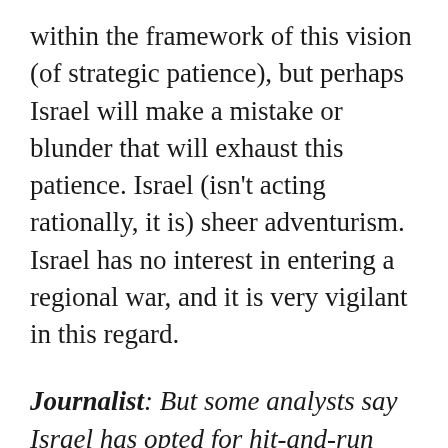within the framework of this vision (of strategic patience), but perhaps Israel will make a mistake or blunder that will exhaust this patience. Israel (isn't acting rationally, it is) sheer adventurism. Israel has no interest in entering a regional war, and it is very vigilant in this regard.
Journalist: But some analysts say Israel has opted for hit-and-run attacks even if it will lead to war.
Hassan Nasrallah: It's more psychological warfare than an (accurate) description of